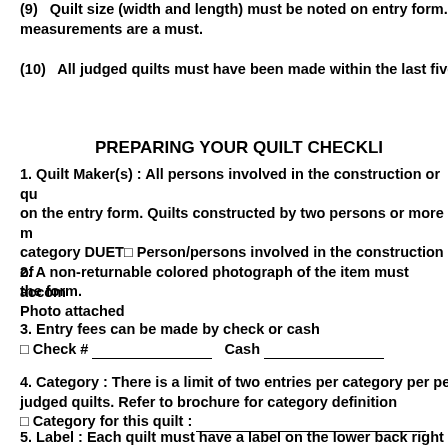(9)  Quilt size (width and length) must be noted on entry form. measurements are a must.
(10)   All judged quilts must have been made within the last five
PREPARING YOUR QUILT CHECKLI
1. Quilt Maker(s) : All persons involved in the construction or qu on the entry form. Quilts constructed by two persons or more m category DUET□ Person/persons involved in the construction of the form.
2. A non-returnable colored photograph of the item must accom Photo attached
3. Entry fees can be made by check or cash □ Check # ________________ Cash ________________
4. Category : There is a limit of two entries per category per pe judged quilts. Refer to brochure for category definition □ Category for this quilt : ______________________________
5. Label : Each quilt must have a label on the lower back right h